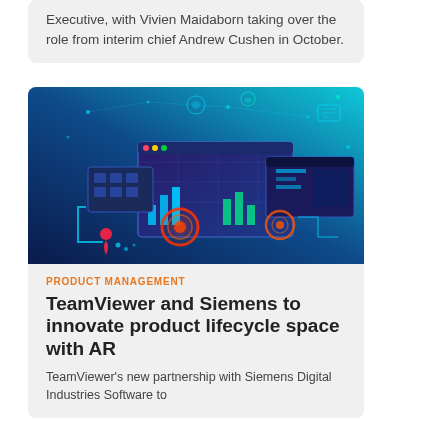Executive, with Vivien Maidaborn taking over the role from interim chief Andrew Cushen in October.
[Figure (photo): Technology concept image showing digital dashboards and data visualization screens with glowing neon elements on a dark blue background]
PRODUCT MANAGEMENT
TeamViewer and Siemens to innovate product lifecycle space with AR
TeamViewer's new partnership with Siemens Digital Industries Software to